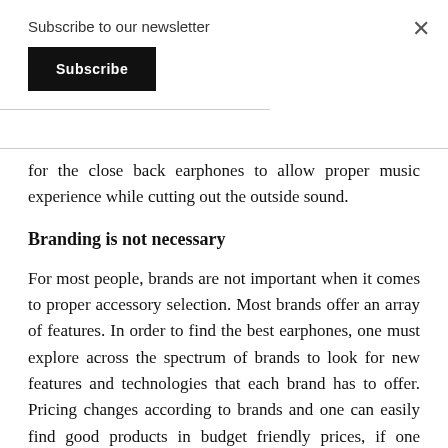Subscribe to our newsletter
Subscribe
×
for the close back earphones to allow proper music experience while cutting out the outside sound.
Branding is not necessary
For most people, brands are not important when it comes to proper accessory selection. Most brands offer an array of features. In order to find the best earphones, one must explore across the spectrum of brands to look for new features and technologies that each brand has to offer. Pricing changes according to brands and one can easily find good products in budget friendly prices, if one explores different brands.